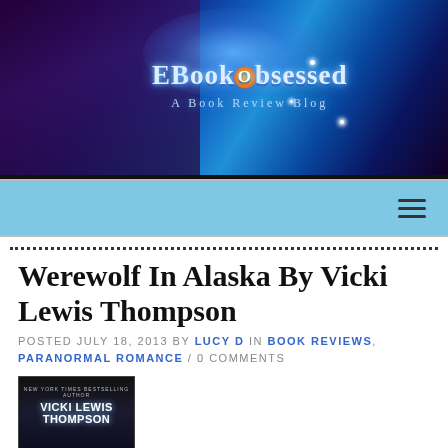[Figure (illustration): EBookObsessed - A Book Review Blog header banner with fantasy/magical blue background, showing a woman with a wolf, magical letters, a castle, a dragon, and another woman. The blog title 'EBookObsessed' and subtitle 'A Book Review Blog' are displayed in glowing text.]
≡ (navigation hamburger menu icon on light blue nav bar)
Werewolf In Alaska By Vicki Lewis Thompson
POSTED JULY 18, 2013 BY LUCY D IN BOOK REVIEWS, PARANORMAL ROMANCE / 0 COMMENTS
[Figure (photo): Book cover for Werewolf In Alaska by Vicki Lewis Thompson. Dark background with author name 'VICKI LEWIS THOMPSON' in large white text.]